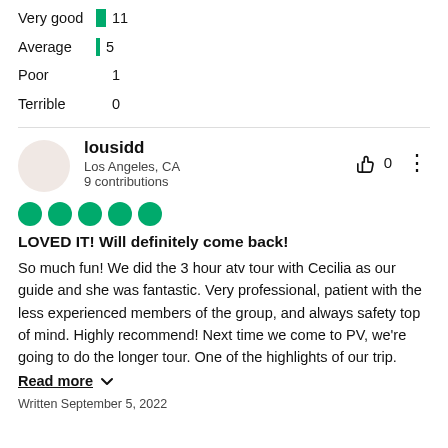Very good   11
Average   5
Poor   1
Terrible   0
lousidd
Los Angeles, CA
9 contributions
[Figure (other): Five green filled circles representing a 5-star rating]
LOVED IT! Will definitely come back!
So much fun! We did the 3 hour atv tour with Cecilia as our guide and she was fantastic. Very professional, patient with the less experienced members of the group, and always safety top of mind. Highly recommend! Next time we come to PV, we're going to do the longer tour. One of the highlights of our trip.
Read more
Written September 5, 2022